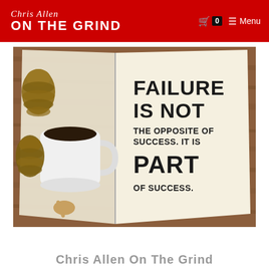Chris Allen On The Grind — Menu (cart: 0)
[Figure (photo): An open book on a wooden table displaying the motivational quote 'FAILURE IS NOT THE OPPOSITE OF SUCCESS. IT IS PART OF SUCCESS.' Next to the book is a white coffee mug filled with black coffee, pine cones, and a wooden spoon.]
Chris Allen On The Grind